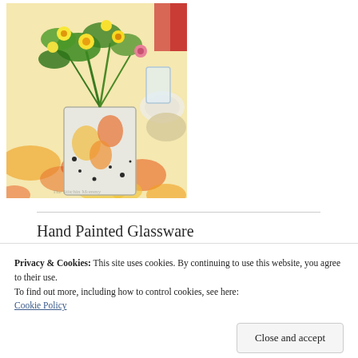[Figure (photo): A decorated tin can vase filled with yellow and green flowers and foliage, sitting on a floral tablecloth with plates and glassware in the background.]
Hand Painted Glassware
Privacy & Cookies: This site uses cookies. By continuing to use this website, you agree to their use.
To find out more, including how to control cookies, see here:
Cookie Policy
[Figure (photo): Partial view of hand painted glassware items at the bottom of the page.]